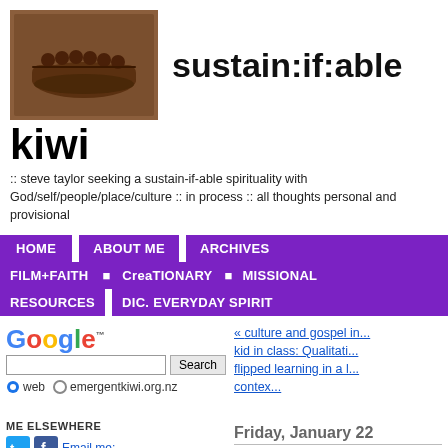[Figure (photo): Brown carved wooden plaque showing figures in a boat, rectangular shape]
sustain:if:able
kiwi
:: steve taylor seeking a sustain-if-able spirituality with God/self/people/place/culture :: in process :: all thoughts personal and provisional
HOME
ABOUT ME
ARCHIVES
FILM+FAITH
CreaTIONARY
MISSIONAL RESOURCES
DIC. EVERYDAY SPIRIT
[Figure (logo): Google search box with web and emergentkiwi.org.nz radio buttons]
« culture and gospel in... kid in class: Qualitati... flipped learning in a l... contex...
ME ELSEWHERE
Email me;
Friday, January 22
reading a "settler" (R...